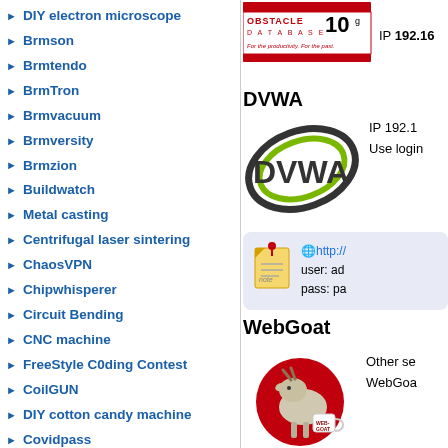DIY electron microscope
Brmson
Brmtendo
BrmTron
Brmvacuum
Brmversity
Brmzion
Buildwatch
Metal casting
Centrifugal laser sintering
ChaosVPN
Chipwhisperer
Circuit Bending
CNC machine
FreeStyle C0ding Contest
CoilGUN
DIY cotton candy machine
Covidpass
Cpunk box
Crypto-anonymity knowbase
CryptoToken
CSIRT
CubeSat
[Figure (logo): Oracle Obstacle Database 10g logo with red banner]
IP 192.16...
DVWA
[Figure (logo): DVWA logo - green and dark oval swoosh around DVWA text]
IP 192.1... Use login...
[Figure (infographic): Note box with globe icon showing http://... url, user: ad... pass: pa...]
WebGoat
[Figure (illustration): WebGoat logo - goat with coffee mug on red circle]
Other se... WebGoa...